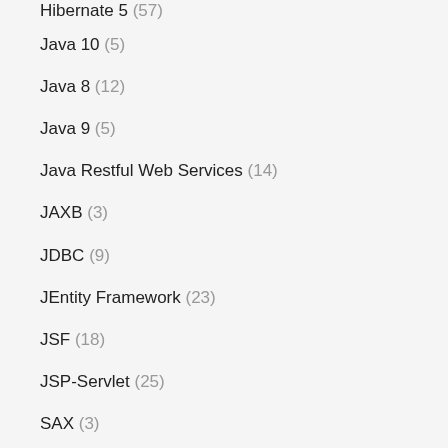Hibernate 5 (57)
Java 10 (5)
Java 8 (12)
Java 9 (5)
Java Restful Web Services (14)
JAXB (3)
JDBC (9)
JEntity Framework (23)
JSF (18)
JSP-Servlet (25)
SAX (3)
Spring Boot (16)